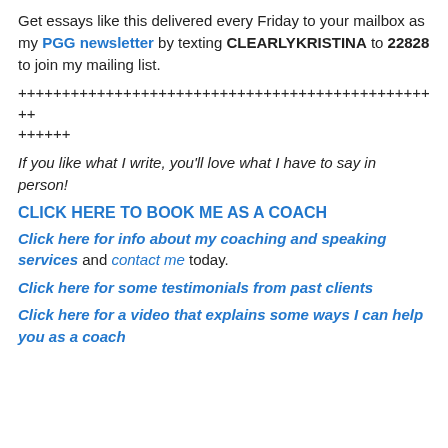Get essays like this delivered every Friday to your mailbox as my PGG newsletter by texting CLEARLYKRISTINA to 22828 to join my mailing list.
++++++++++++++++++++++++++++++++++++++++++++++++++++++
If you like what I write, you'll love what I have to say in person!
CLICK HERE TO BOOK ME AS A COACH
Click here for info about my coaching and speaking services and contact me today.
Click here for some testimonials from past clients
Click here for a video that explains some ways I can help you as a coach